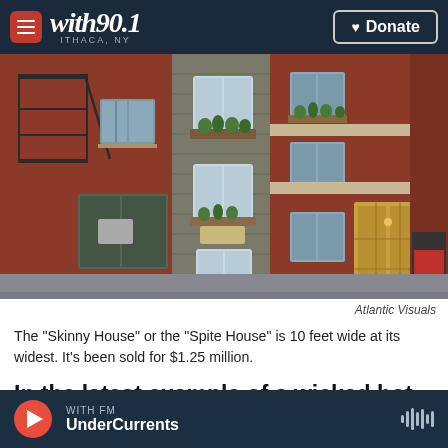with90.1 ITHACA, NY | Donate
[Figure (photo): Street-level photo of the Skinny House (Spite House) in Boston — a narrow gray-sided building sandwiched between taller red-brick buildings, with window boxes of plants, flanked by a fire escape on the left and a red arched door on the right.]
Atlantic Visuals
The "Skinny House" or the "Spite House" is 10 feet wide at its widest. It's been sold for $1.25 million.
In the latest example of a wicked hot housing
WITH FM | UnderCurrents